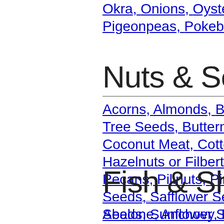Okra, Onions, Oyster Mushrooms, Pigeonpeas, Pokeberry Shoots
Nuts & Seeds
Acorns, Almonds, Beechnuts, Breadnut Tree Seeds, Butternuts, Cashews, Coconut Meat, Cottonseed Kernels, Hazelnuts or Filberts, Hickorynuts, Pecans, Pilinuts, Pine Nuts, Pistachio Seeds, Safflower Seed Kernels, Sesame Seeds, Sunflower Seed Kernels
Fish & Shellfish
Abalone, Anchovy, Bass, Bluefish, Cisco, Clams, Cod, Crab, Crayfish, Dolphinfish, Drum, Eel, Flatfish, Ling, Lobster, Mackerel, Milkfish, Perch, Octopus, Oysters, Perch